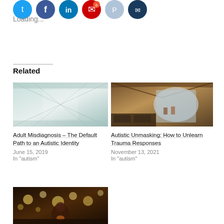[Figure (illustration): Row of social media icon circles: blue Twitter, blue Facebook, blue LinkedIn, red with badge, light blue, dark blue]
Loading...
Related
[Figure (photo): Blurred glass corridor interior with reflective walls and ceiling, teal and white tones]
Adult Misdiagnosis – The Default Path to an Autistic Identity
June 15, 2019
In "autism"
[Figure (photo): Interior of a glamping tent looking out to a beach, warm natural light, chairs and bedding visible]
Autistic Unmasking: How to Unlearn Trauma Responses
November 13, 2021
In "autism"
[Figure (photo): Dark outdoor scene with bokeh string lights and a woman in foreground with warm orange tones]